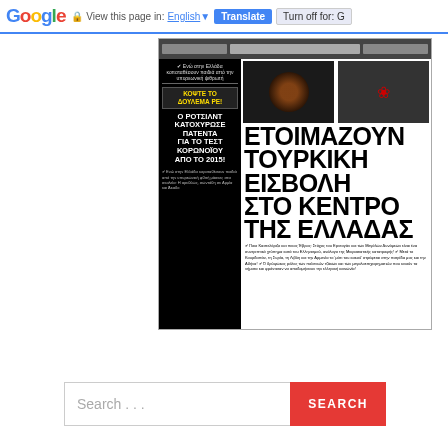Google — View this page in: English [▼] Translate  Turn off for: G
[Figure (screenshot): Screenshot of a Greek newspaper front page with large bold Greek text. Left black column reads: ΚΟΨΤΕ ΤΟ ΔΟΥΛΕΜΑ ΡΕ! Ο ΡΟΤΣΙΛΝΤ ΚΑΤΟΧΥΡΩΣΕ ΠΑΤΕΝΤΑ ΓΙΑ ΤΟ ΤΕΣΤ ΚΟΡΩΝΟΪΟΥ ΑΠΟ ΤΟ 2015! Main headline: ΕΤΟΙΜΑΖΟΥΝ ΤΟΥΡΚΙΚΗ ΕΙΣΒΟΛΗ ΣΤΟ ΚΕΝΤΡΟ ΤΗΣ ΕΛΛΑΔΑΣ]
Search ....
SEARCH